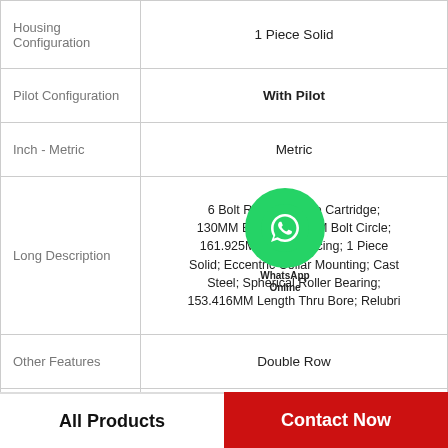| Property | Value |
| --- | --- |
| Housing Configuration | 1 Piece Solid |
| Pilot Configuration | With Pilot |
| Inch - Metric | Metric |
| Long Description | 6 Bolt Round Flange Cartridge; 130MM Bore; 325.1MM Bolt Circle; 161.925MM Bolt Spacing; 1 Piece Solid; Eccentric Collar Mounting; Cast Steel; Spherical Roller Bearing; 153.416MM Length Thru Bore; Relubrication |
| Other Features | Double Row |
| UNSPSC | 31171501 |
All Products
Contact Now